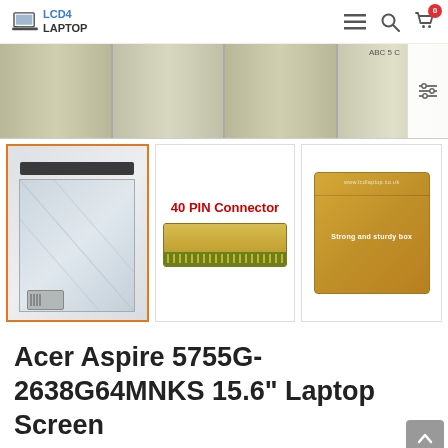LCD4LAPTOP
[Figure (photo): Main product image strip showing laptop LCD screen panel, top portion cropped, with filter/sort icon overlay on right side]
[Figure (photo): Thumbnail 1 (active/selected with orange border): Laptop LCD screen panel showing full panel with black top bar]
[Figure (photo): Thumbnail 2: 40 PIN Connector image showing gold connector strip on green PCB]
[Figure (photo): Thumbnail 3: Strong and sturdy box - gold/brown cardboard box]
Acer Aspire 5755G-2638G64MNKS 15.6" Laptop Screen